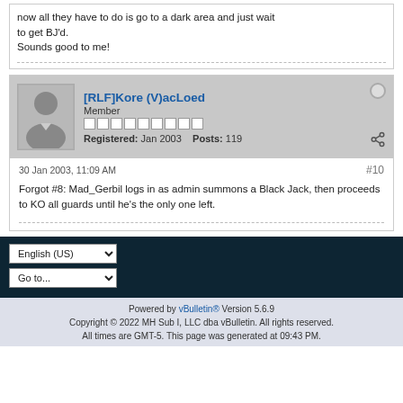now all they have to do is go to a dark area and just wait to get BJ'd.
Sounds good to me!
[RLF]Kore (V)acLoed
Member
Registered: Jan 2003   Posts: 119
30 Jan 2003, 11:09 AM
#10
Forgot #8: Mad_Gerbil logs in as admin summons a Black Jack, then proceeds to KO all guards until he's the only one left.
English (US)
Go to...
Powered by vBulletin® Version 5.6.9
Copyright © 2022 MH Sub I, LLC dba vBulletin. All rights reserved.
All times are GMT-5. This page was generated at 09:43 PM.